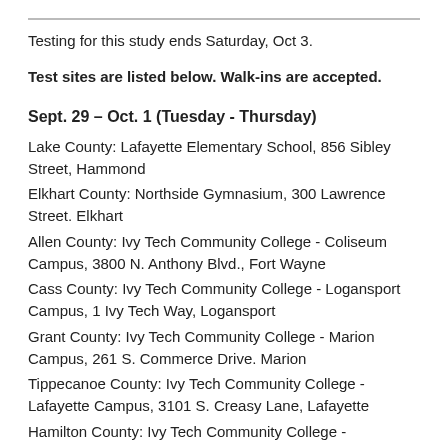Testing for this study ends Saturday, Oct 3.
Test sites are listed below. Walk-ins are accepted.
Sept. 29 – Oct. 1 (Tuesday - Thursday)
Lake County: Lafayette Elementary School, 856 Sibley Street, Hammond
Elkhart County: Northside Gymnasium, 300 Lawrence Street. Elkhart
Allen County: Ivy Tech Community College - Coliseum Campus, 3800 N. Anthony Blvd., Fort Wayne
Cass County: Ivy Tech Community College - Logansport Campus, 1 Ivy Tech Way, Logansport
Grant County: Ivy Tech Community College - Marion Campus, 261 S. Commerce Drive. Marion
Tippecanoe County: Ivy Tech Community College - Lafayette Campus, 3101 S. Creasy Lane, Lafayette
Hamilton County: Ivy Tech Community College - Noblesville Campus, 300 N. 17th Street, Noblesville